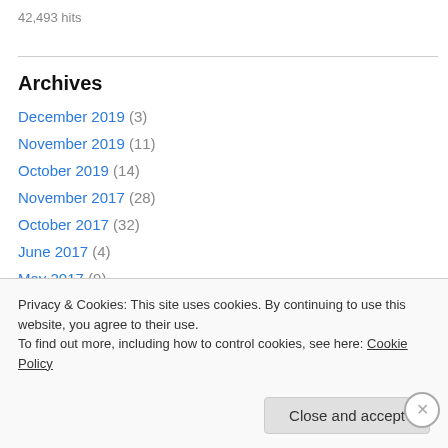42,493 hits
Archives
December 2019 (3)
November 2019 (11)
October 2019 (14)
November 2017 (28)
October 2017 (32)
June 2017 (4)
May 2017 (9)
April 2017 (4)
Privacy & Cookies: This site uses cookies. By continuing to use this website, you agree to their use. To find out more, including how to control cookies, see here: Cookie Policy
Close and accept